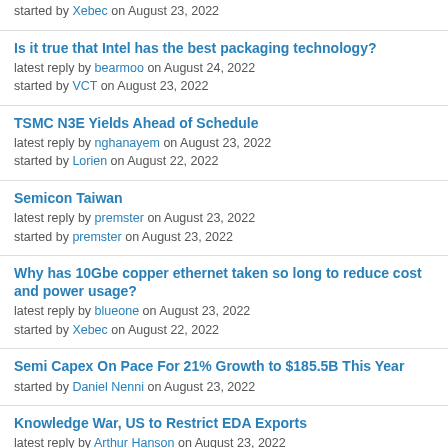started by Xebec on August 23, 2022
Is it true that Intel has the best packaging technology?
latest reply by bearmoo on August 24, 2022
started by VCT on August 23, 2022
TSMC N3E Yields Ahead of Schedule
latest reply by nghanayem on August 23, 2022
started by Lorien on August 22, 2022
Semicon Taiwan
latest reply by premster on August 23, 2022
started by premster on August 23, 2022
Why has 10Gbe copper ethernet taken so long to reduce cost and power usage?
latest reply by blueone on August 23, 2022
started by Xebec on August 22, 2022
Semi Capex On Pace For 21% Growth to $185.5B This Year
started by Daniel Nenni on August 23, 2022
Knowledge War, US to Restrict EDA Exports
latest reply by Arthur Hanson on August 23, 2022
started by Arthur Hanson on August 18, 2022